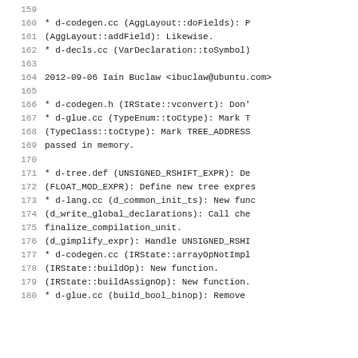159
160    * d-codegen.cc (AggLayout::doFields): P
161      (AggLayout::addField): Likewise.
162    * d-decls.cc (VarDeclaration::toSymbol)
163
164  2012-09-06  Iain Buclaw  <ibuclaw@ubuntu.com>
165
166        * d-codegen.h (IRState::vconvert): Don'
167        * d-glue.cc (TypeEnum::toCtype): Mark T
168          (TypeClass::toCtype): Mark TREE_ADDRESS
169          passed in memory.
170
171        * d-tree.def (UNSIGNED_RSHIFT_EXPR): De
172          (FLOAT_MOD_EXPR): Define new tree expres
173        * d-lang.cc (d_common_init_ts): New func
174          (d_write_global_declarations): Call che
175          finalize_compilation_unit.
176          (d_gimplify_expr): Handle UNSIGNED_RSHI
177        * d-codegen.cc (IRState::arrayOpNotImpl
178          (IRState::buildOp): New function.
179          (IRState::buildAssignOp): New function.
180        * d-glue.cc (build_bool_binop): Remove